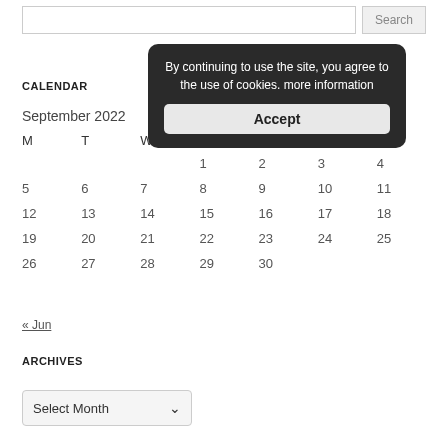Search
By continuing to use the site, you agree to the use of cookies. more information
Accept
CALENDAR
September 2022
| M | T | W | T | F | S | S |
| --- | --- | --- | --- | --- | --- | --- |
|  |  |  | 1 | 2 | 3 | 4 |
| 5 | 6 | 7 | 8 | 9 | 10 | 11 |
| 12 | 13 | 14 | 15 | 16 | 17 | 18 |
| 19 | 20 | 21 | 22 | 23 | 24 | 25 |
| 26 | 27 | 28 | 29 | 30 |  |  |
« Jun
ARCHIVES
Select Month